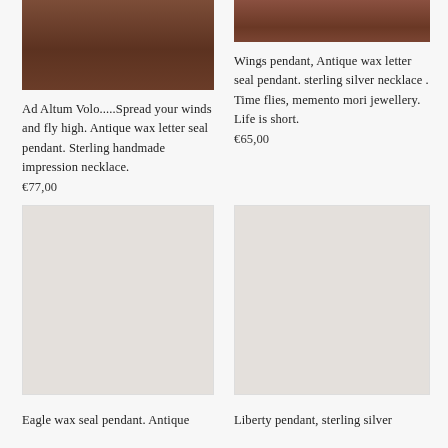[Figure (photo): Product photo of wax seal pendant on dark brown textured background, left column, partially cropped at top]
[Figure (photo): Product photo of wings pendant on dark brown textured background, right column, partially cropped at top]
Ad Altum Volo.....Spread your winds and fly high. Antique wax letter seal pendant. Sterling handmade impression necklace.
€77,00
Wings pendant, Antique wax letter seal pendant. sterling silver necklace . Time flies, memento mori jewellery. Life is short.
€65,00
[Figure (photo): Product photo placeholder for eagle wax seal pendant, left column]
[Figure (photo): Product photo placeholder for liberty pendant, right column]
Eagle wax seal pendant. Antique
Liberty pendant, sterling silver